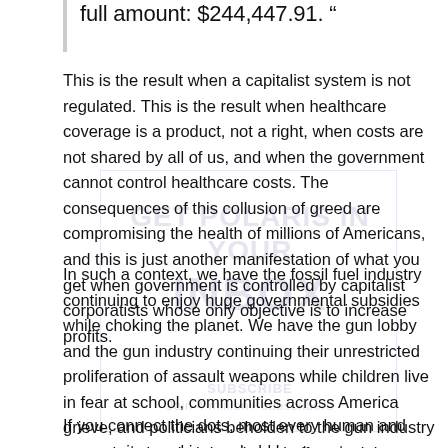full amount: $244,447.91. “
This is the result when a capitalist system is not regulated. This is the result when healthcare coverage is a product, not a right, when costs are not shared by all of us, and when the government cannot control healthcare costs. The consequences of this collusion of greed are compromising the health of millions of Americans, and this is just another manifestation of what you get when government is controlled by capitalist corporatists whose only objective is to increase profits.
In such a context, we have the fossil fuel industry continuing to enjoy huge governmental subsidies while choking the planet. We have the gun lobby and the gun industry continuing their unrestricted proliferation of assault weapons while children live in fear at school, communities across America grieve, and politicians beholden to the gun industry can only wring their hands and offer condolences.
If you connect the dots, most every human and community need is now held hostage to corporations, and while the 1%